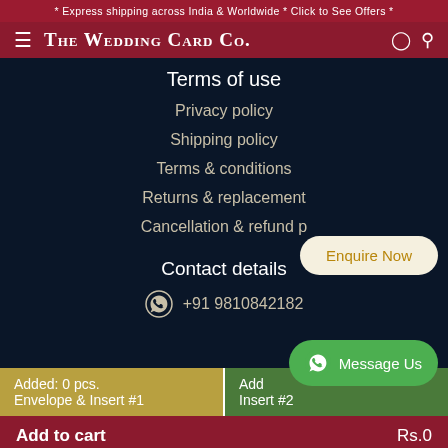* Express shipping across India & Worldwide * Click to See Offers *
THE WEDDING CARD CO.
Terms of use
Privacy policy
Shipping policy
Terms & conditions
Returns & replacement
Cancellation & refund p...
Enquire Now
Contact details
Message Us
+91 9810842182
Added: 0 pcs.
Envelope & Insert #1
Add
Insert #2
Add to cart   Rs.0